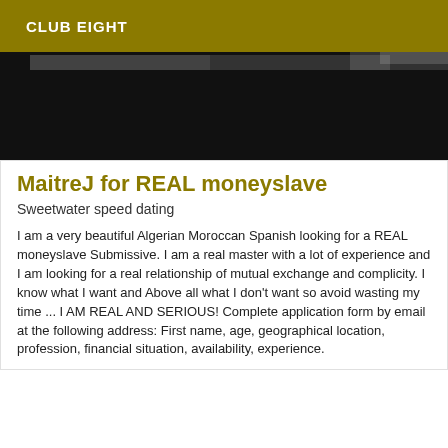CLUB EIGHT
[Figure (photo): Dark photograph, mostly black with a small lighter area at top right, appearing to show part of a person or object in low light.]
MaitreJ for REAL moneyslave
Sweetwater speed dating
I am a very beautiful Algerian Moroccan Spanish looking for a REAL moneyslave Submissive. I am a real master with a lot of experience and I am looking for a real relationship of mutual exchange and complicity. I know what I want and Above all what I don't want so avoid wasting my time ... I AM REAL AND SERIOUS! Complete application form by email at the following address: First name, age, geographical location, profession, financial situation, availability, experience.